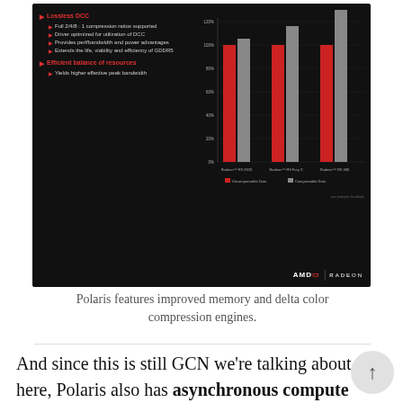[Figure (grouped-bar-chart): AMD slide showing Lossless DCC features and a grouped bar chart comparing Relative Memory Bandwidth across Radeon R9 290X, R9 Fury X, and RX 480 for uncompressible and compressible data.]
Polaris features improved memory and delta color compression engines.
And since this is still GCN we're talking about here, Polaris also has asynchronous compute capabilities, which is the ability to process compute and graphics workloads simultaneously. This includes recently added features like Quick Response Queue, which allows greater flexibility in